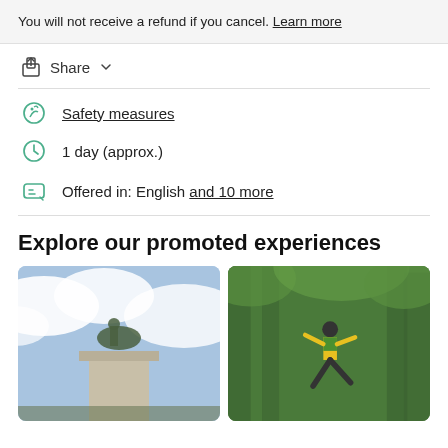You will not receive a refund if you cancel. Learn more
Share
Safety measures
1 day (approx.)
Offered in: English and 10 more
Explore our promoted experiences
[Figure (photo): Outdoor statue on a stone pedestal against a cloudy blue sky, with people visible at the base]
[Figure (photo): Person in a yellow and green jacket jumping or zip-lining among trees in a green forest]